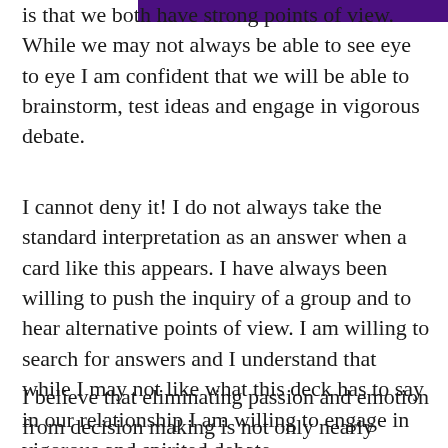[Figure (other): Purple/dark violet horizontal banner bar at top right of page]
is that we both have strong points of view. While we may not always be able to see eye to eye I am confident that we will be able to brainstorm, test ideas and engage in vigorous debate.
I cannot deny it! I do not always take the standard interpretation as an answer when a card like this appears. I have always been willing to push the inquiry of a group and to hear alternative points of view. I am willing to search for answers and I understand that while I may not like what this deck has to say in our relationship I am willing to engage in vigorous and spirited debate.
I believe that eliminating passion and emotion from decision making is not only nearly impossible; it's counterproductive. At the end of the day, those feelings are the same ones that will drive the